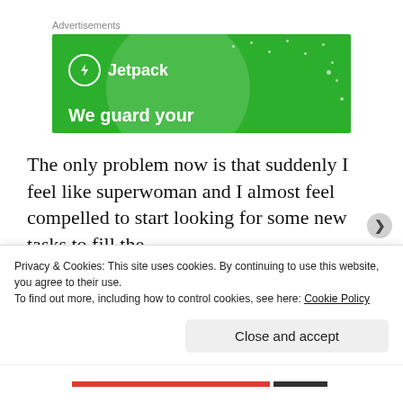Advertisements
[Figure (illustration): Jetpack advertisement banner with green background, circular lighter green graphic, Jetpack logo with lightning bolt icon, and tagline 'We guard your']
The only problem now is that suddenly I feel like superwoman and I almost feel compelled to start looking for some new tasks to fill the
Privacy & Cookies: This site uses cookies. By continuing to use this website, you agree to their use.
To find out more, including how to control cookies, see here: Cookie Policy
Close and accept